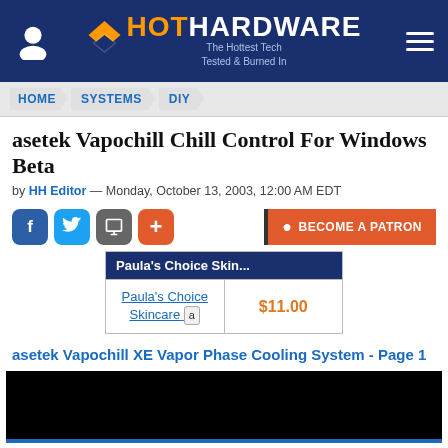HotHardware - The Hottest Tech Tested & Burned In
HOME > SYSTEMS > DIY
asetek Vapochill Chill Control For Windows Beta
by HH Editor — Monday, October 13, 2003, 12:00 AM EDT
[Figure (screenshot): Social share buttons (Facebook, Twitter, print, plus) and BECOME A PATRON button]
| Paula's Choice Skin... |  |
| --- | --- |
| Paula's Choice Skincare [amazon] | $11.00 |
asetek Vapochill XE Vapor Phase Cooling System - Page 1
[Figure (photo): Black product image at bottom of page]